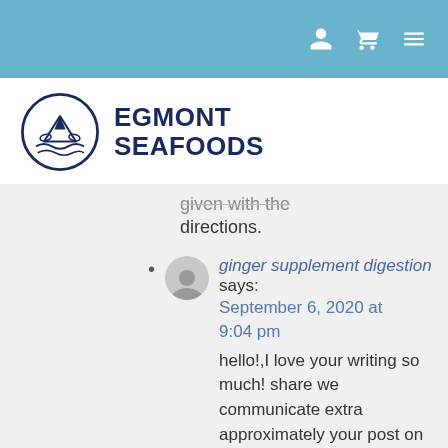Egmont Seafoods website header with navigation icons
[Figure (logo): Egmont Seafoods logo with circular fish/wave emblem and bold text EGMONT SEAFOODS]
directions.
ginger supplement digestion says: September 6, 2020 at 9:04 pm
hello!,I love your writing so much! share we communicate extra approximately your post on AOL? I require a specialist in this house to solve my